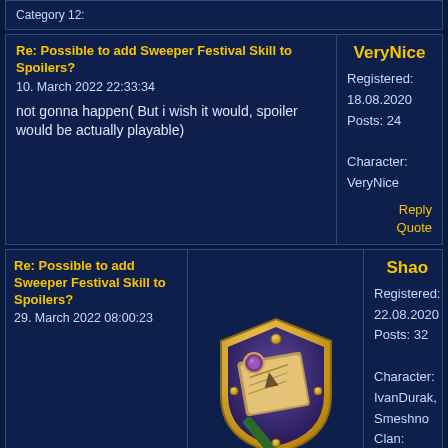Category 12:
Re: Possible to add Sweeper Festival Skill to Spoilers?
10. March 2022 22:33:34
not gonna happen( But i wish it would, spoiler would be actually playable)
VeryNice
Registered: 18.08.2020
Posts: 24
Character: VeryNice
Reply   Quote
Re: Possible to add Sweeper Festival Skill to Spoilers?
29. March 2022 08:00:23
[Figure (illustration): Game badge/avatar icon showing a shield with a map scroll and staff]
Shao
Registered: 22.08.2020
Posts: 32
Character: IvanDurak, Smeshno
Clan: DarkLegion
Reply   Quote
I agree. A good idea that could revive the spoiler...